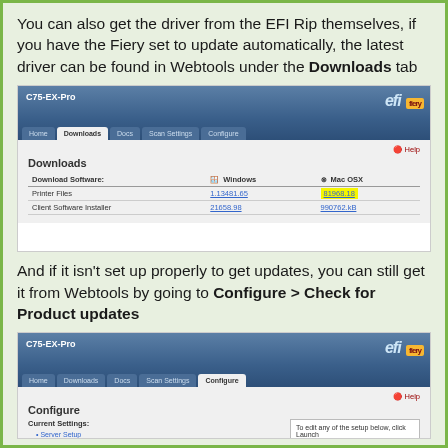You can also get the driver from the EFI Rip themselves, if you have the Fiery set to update automatically, the latest driver can be found in Webtools under the Downloads tab
[Figure (screenshot): EFI Webtools C75-EX-Pro Downloads tab screenshot showing Printer Files and Client Software Installer download links for Windows and Mac OSX, with the Mac OSX Printer Files link highlighted in yellow]
And if it isn't set up properly to get updates, you can still get it from Webtools by going to Configure > Check for Product updates
[Figure (screenshot): EFI Webtools C75-EX-Pro Configure tab screenshot showing Current Settings with Server Setup, Network Protocol Setup, Network Services Setup options and a dialog box saying 'To edit any of the setup below, click Launch']